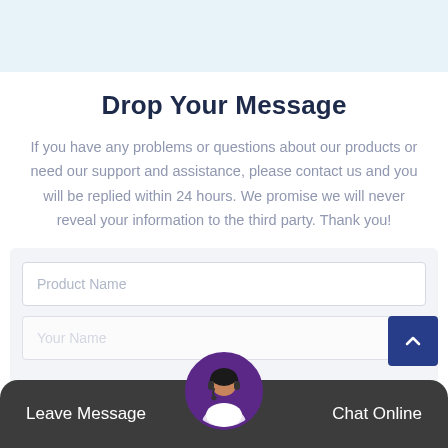[Figure (other): Light blue top banner/header area]
Drop Your Message
If you have any problems or questions about our products or need our support and assistance, please contact us and you will be replied within 24 hours. We promise we will never reveal your information to the third party. Thank you!
[Figure (screenshot): Form box with Product Name input field]
[Figure (other): Dark bottom bar with Leave Message and Chat Online options, and a circular avatar of a female customer support agent with headset in the center]